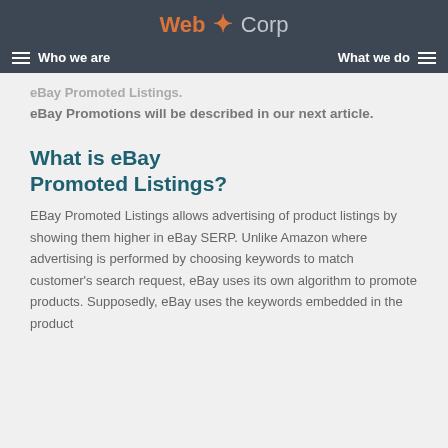Web Corp — Who we are | What we do
eBay Promotions will be described in our next article.
What is eBay Promoted Listings?
EBay Promoted Listings allows advertising of product listings by showing them higher in eBay SERP. Unlike Amazon where advertising is performed by choosing keywords to match customer's search request, eBay uses its own algorithm to promote products. Supposedly, eBay uses the keywords embedded in the product